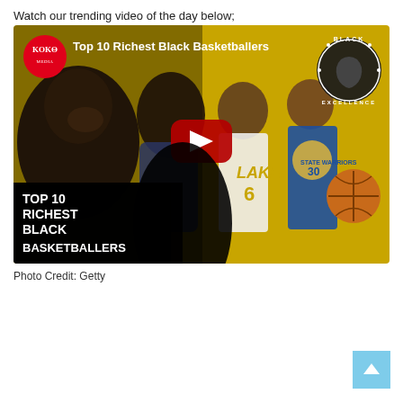Watch our trending video of the day below;
[Figure (screenshot): YouTube video thumbnail for 'Top 10 Richest Black Basketballers' featuring KOKO logo, Black Excellence badge, basketball players including Lakers and Warriors players, with YouTube play button overlay and text 'TOP 10 RICHEST BLACK BASKETBALLERS' in bottom left corner.]
Photo Credit: Getty